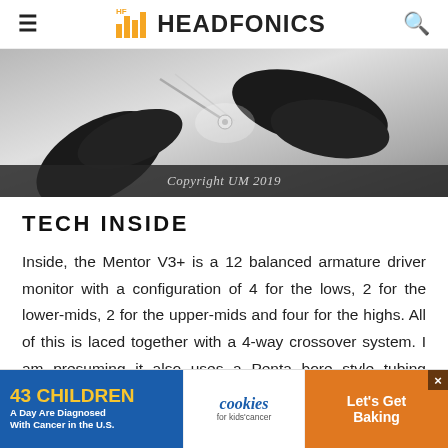HEADFONICS
[Figure (photo): Hands wearing black gloves working on small audio driver components with tweezers, close-up macro shot on white background.]
Copyright UM 2019
TECH INSIDE
Inside, the Mentor V3+ is a 12 balanced armature driver monitor with a configuration of 4 for the lows, 2 for the lower-mids, 2 for the upper-mids and four for the highs. All of this is laced together with a 4-way crossover system. I am presuming it also uses a Penta bore style tubing system with four for the drivers and one for the bass and mids.
[Figure (other): Advertisement banner: '43 CHILDREN A Day Are Diagnosed With Cancer in the U.S.' with cookies for kids' cancer and 'Let's Get Baking' sections.]